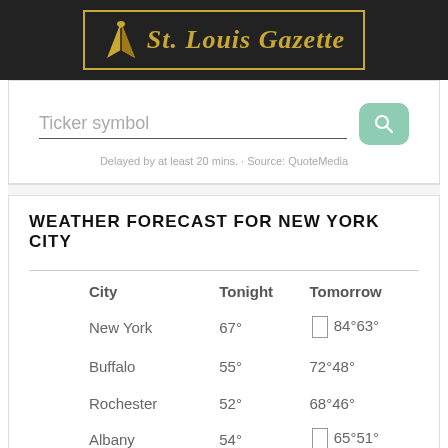St. Louis Gazette
Ticker symbol
Delayed by at least 20 mins. · Source: QuoteMedia
WEATHER FORECAST FOR NEW YORK CITY
| City | Tonight | Tomorrow |
| --- | --- | --- |
| New York | 67° | 84°63° |
| Buffalo | 55° | 72°48° |
| Rochester | 52° | 68°46° |